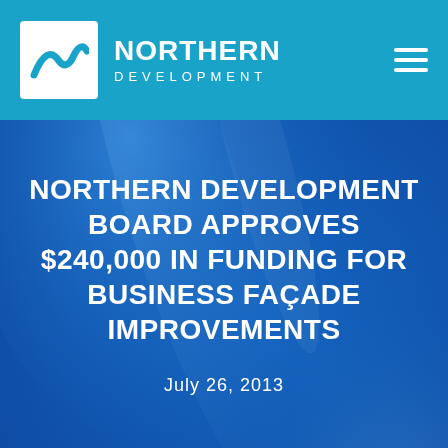[Figure (logo): Northern Development logo with white wave/mountain mark in a white box and white text 'NORTHERN DEVELOPMENT' on teal background, with hamburger menu icon on the right]
NORTHERN DEVELOPMENT BOARD APPROVES $240,000 IN FUNDING FOR BUSINESS FAÇADE IMPROVEMENTS
July 26, 2013